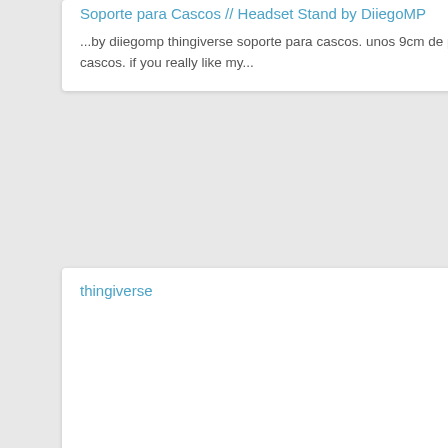Soporte para Cascos // Headset Stand by DiiegoMP
...by diiegomp thingiverse soporte para cascos. unos 9cm de palo para sujetar los cascos. if you really like my...
thingiverse    free
[Figure (other): Blank white image area placeholder for product image]
Plataforma plegable para carga telefono by panhardcito
...puede ser necesario pasar una broca para que el palo de la bisagra encaje...